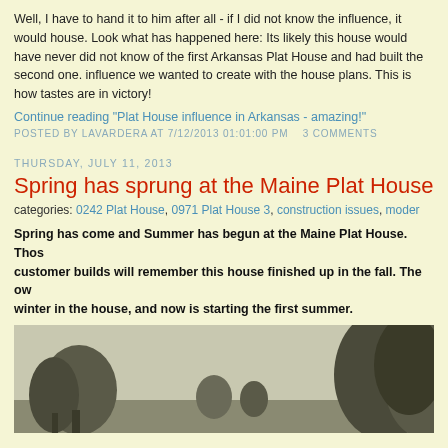Well, I have to hand it to him after all - if I did not know the influence, it would house. Look what has happened here: Its likely this house would have never did not know of the first Arkansas Plat House and had built the second one. influence we wanted to create with the house plans. This is how tastes are in victory!
Continue reading "Plat House influence in Arkansas - amazing!"
POSTED BY LAVARDERA AT 7/12/2013 01:01:00 PM   3 COMMENTS
THURSDAY, JULY 11, 2013
Spring has sprung at the Maine Plat House
categories: 0242 Plat House, 0971 Plat House 3, construction issues, moder
Spring has come and Summer has begun at the Maine Plat House. Those customer builds will remember this house finished up in the fall. The ow winter in the house, and now is starting the first summer.
[Figure (photo): Outdoor photo showing trees and landscape at the Maine Plat House]